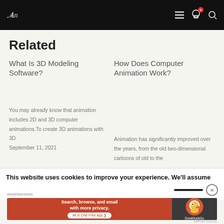And [logo] ☰ 🛒 0 🔍
Related
What Is 3D Modeling Software?
You may already know that animation includes 2D and 3D computer animations.To create 3D animations with 3D September 11, 2021
How Does Computer Animation Work?
Animation has significantly improved over the years, from the old two-dimensional cartoons of old to the
This website uses cookies to improve your experience. We'll assume
Advertisements
[Figure (screenshot): DuckDuckGo advertisement banner: Search, browse, and email with more privacy. All in One Free App.]